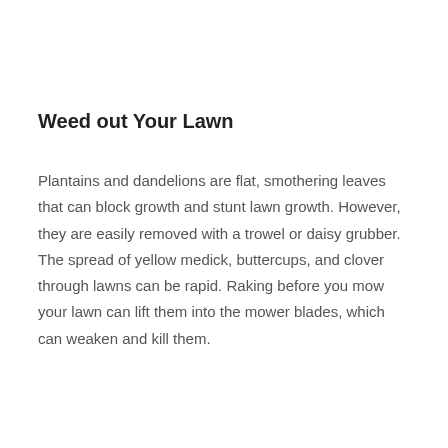Weed out Your Lawn
Plantains and dandelions are flat, smothering leaves that can block growth and stunt lawn growth. However, they are easily removed with a trowel or daisy grubber. The spread of yellow medick, buttercups, and clover through lawns can be rapid. Raking before you mow your lawn can lift them into the mower blades, which can weaken and kill them.